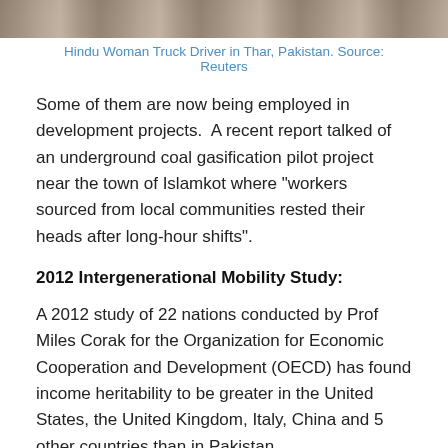[Figure (photo): Partial photo of a Hindu woman truck driver in Thar, Pakistan, showing top portion of image (cropped at top of page).]
Hindu Woman Truck Driver in Thar, Pakistan. Source: Reuters
Some of them are now being employed in development projects.  A recent report talked of an underground coal gasification pilot project near the town of Islamkot where "workers sourced from local communities rested their heads after long-hour shifts".
2012 Intergenerational Mobility Study:
A 2012 study of 22 nations conducted by Prof Miles Corak for the Organization for Economic Cooperation and Development (OECD) has found income heritability to be greater in the United States, the United Kingdom, Italy, China and 5 other countries than in Pakistan.
The study's findings, presented by the author in testimony to the US Senate Finance Committee on July 6, 2012, rely on the